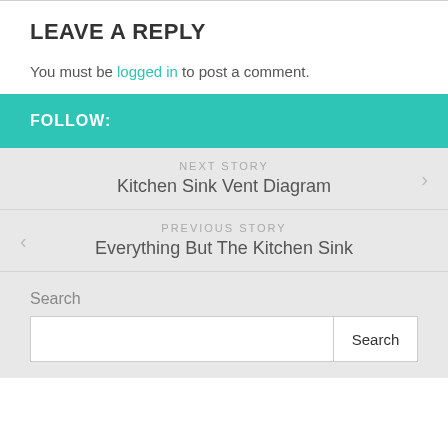LEAVE A REPLY
You must be logged in to post a comment.
FOLLOW:
NEXT STORY
Kitchen Sink Vent Diagram
PREVIOUS STORY
Everything But The Kitchen Sink
Search